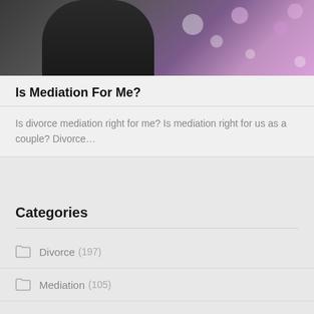[Figure (photo): Partial photo of a person in a dark puffy jacket against a purple bokeh background]
Is Mediation For Me?
Is divorce mediation right for me? Is mediation right for us as a couple? Divorce…
Categories
Divorce (197)
Mediation (105)